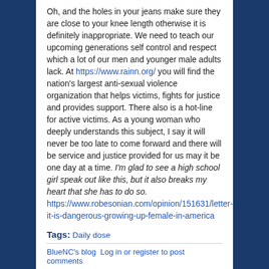Oh, and the holes in your jeans make sure they are close to your knee length otherwise it is definitely inappropriate. We need to teach our upcoming generations self control and respect which a lot of our men and younger male adults lack. At https://www.rainn.org/ you will find the nation's largest anti-sexual violence organization that helps victims, fights for justice and provides support. There also is a hot-line for active victims. As a young woman who deeply understands this subject, I say it will never be too late to come forward and there will be service and justice provided for us may it be one day at a time. I'm glad to see a high school girl speak out like this, but it also breaks my heart that she has to do so. https://www.robesonian.com/opinion/151631/letter-it-is-dangerous-growing-up-female-in-america
Tags: Daily dose
BlueNC's blog  Log in or register to post comments